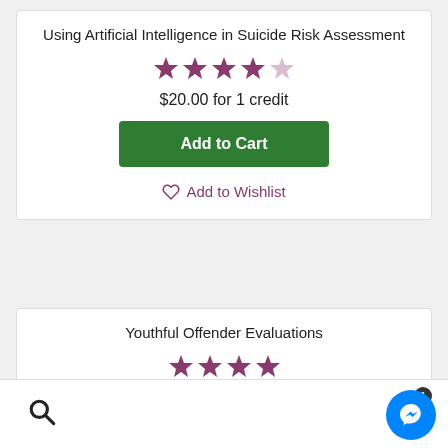Using Artificial Intelligence in Suicide Risk Assessment
[Figure (other): Star rating: 4 out of 5 stars (purple/pink filled stars with one empty star)]
$20.00 for 1 credit
Add to Cart
Add to Wishlist
Youthful Offender Evaluations
[Figure (other): Star rating: 4 out of 5 stars (purple/pink filled stars)]
Search icon | Cart with 1 item | Messenger chat button